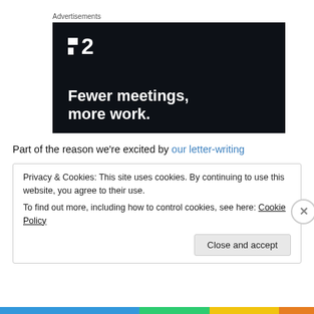Advertisements
[Figure (illustration): Dark-background advertisement banner for 'Plan 2' productivity app with logo and tagline 'Fewer meetings, more work.']
Part of the reason we're excited by our letter-writing
Privacy & Cookies: This site uses cookies. By continuing to use this website, you agree to their use.
To find out more, including how to control cookies, see here: Cookie Policy
Close and accept